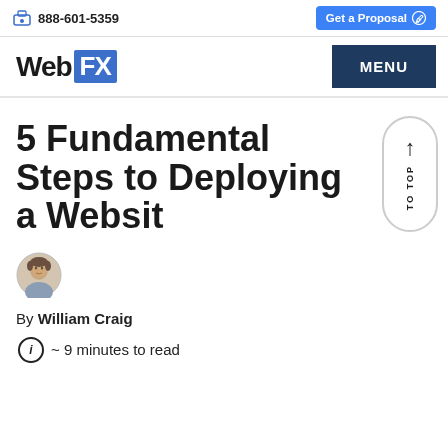888-601-5359  |  Get a Proposal
WebFX  MENU
5 Fundamental Steps to Deploying a Website
By William Craig
~ 9 minutes to read